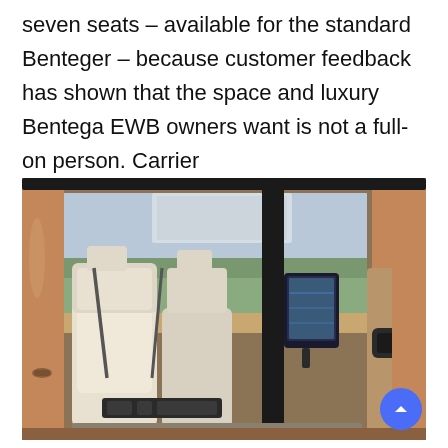seven seats – available for the standard Benteger – because customer feedback has shown that the space and luxury Bentega EWB owners want is not a full-on person. Carrier
[Figure (photo): Interior view of a Bentley Bentayga EWB luxury SUV showing cream/beige leather rear seats with a tablet screen mounted on the front seatback, viewed from the open rear passenger door. The exterior is a copper/rose gold metallic color. Sunroof visible above.]